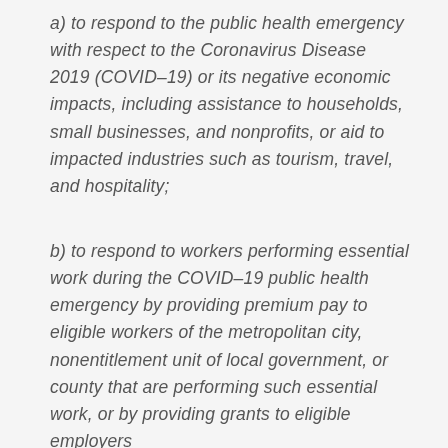a) to respond to the public health emergency with respect to the Coronavirus Disease 2019 (COVID–19) or its negative economic impacts, including assistance to households, small businesses, and nonprofits, or aid to impacted industries such as tourism, travel, and hospitality;
b) to respond to workers performing essential work during the COVID–19 public health emergency by providing premium pay to eligible workers of the metropolitan city, nonentitlement unit of local government, or county that are performing such essential work, or by providing grants to eligible employers